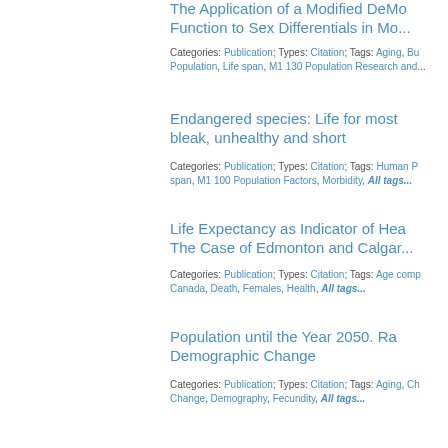The Application of a Modified DeMo Function to Sex Differentials in Mo...
Categories: Publication; Types: Citation; Tags: Aging, Bu Population, Life span, M1 130 Population Research and...
Endangered species: Life for most bleak, unhealthy and short
Categories: Publication; Types: Citation; Tags: Human P span, M1 100 Population Factors, Morbidity, All tags...
Life Expectancy as Indicator of Hea The Case of Edmonton and Calgar...
Categories: Publication; Types: Citation; Tags: Age comp Canada, Death, Females, Health, All tags...
Population until the Year 2050. Ra Demographic Change
Categories: Publication; Types: Citation; Tags: Aging, Ch Change, Demography, Fecundity, All tags...